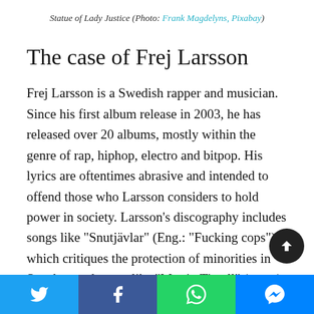Statue of Lady Justice (Photo: Frank Magdelyns, Pixabay)
The case of Frej Larsson
Frej Larsson is a Swedish rapper and musician. Since his first album release in 2003, he has released over 20 albums, mostly within the genre of rap, hiphop, electro and bitpop. His lyrics are oftentimes abrasive and intended to offend those who Larsson considers to hold power in society. Larsson’s discography includes songs like “Snutjävlar” (Eng.: “Fucking cops”), which critiques the protection of minorities in Sweden, and songs like “Martin Timell” (name), a song that describes the Swedish media personality Martin Timell as a rapist. In this case, the allegations that were put forth against Timell by a coworker of his, were not backed up by enough